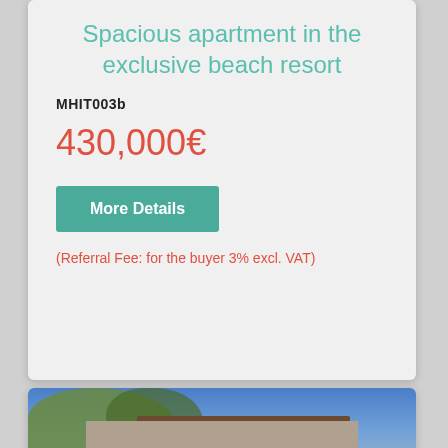Spacious apartment in the exclusive beach resort
MHIT003b
430,000€
More Details
(Referral Fee: for the buyer 3% excl. VAT)
[Figure (photo): Exterior photo of a building with trees against a blue sky]